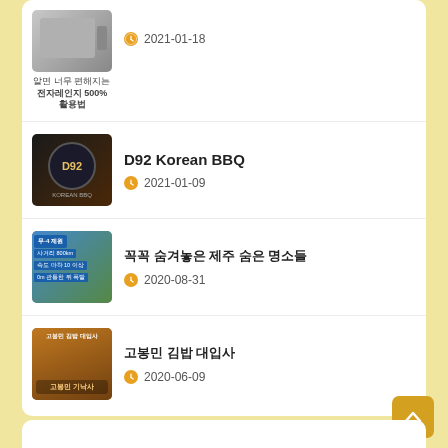[Figure (screenshot): List of blog/news items showing thumbnails with titles and dates on a light yellow background]
알면 너무 편해지는 전자레인지 500% 활용법 — 2021-01-18
D92 Korean BBQ — 2021-01-09
꼭꼭 숨겨놓은 제주 숨은 명소들 — 2020-08-31
고봉민 김밥 대입사 — 2020-06-09